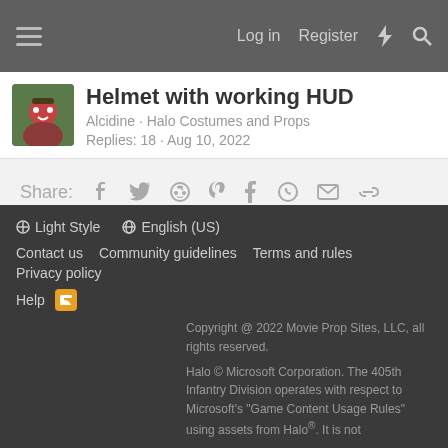Log in · Register
Helmet with working HUD
Alcidine · Halo Costumes and Props
Replies: 18 · Aug 10, 2022
Share:
< Halo Costumes and Props
Light Style  English (US)  Contact us  Community guidelines  Terms and rules  Privacy policy  Help  Copyright @ 2022 Movie Prop Sites, LLC, all rights reserved.  Halo © Microsoft Corporation. The 405th Infantry Division operates with respect to Microsoft's "Game Content Usage Rules" using assets from Halo®. It is not